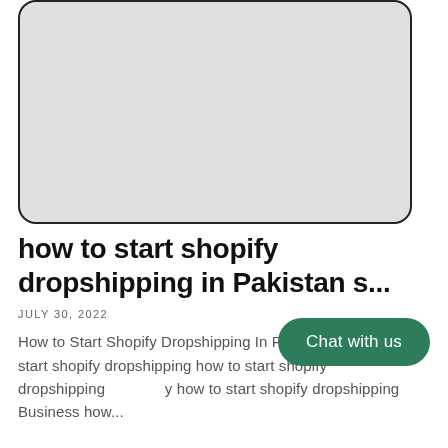[Figure (other): Gray placeholder image with rounded corners and dark border]
how to start shopify dropshipping in Pakistan s...
JULY 30, 2022
How to Start Shopify Dropshipping In Pakistan how to start shopify dropshipping how to start shopify dropshipping how to start shopify dropshipping Business how...